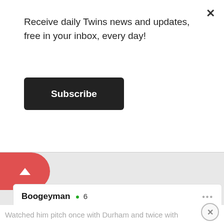Receive daily Twins news and updates, free in your inbox, every day!
Subscribe
[Figure (other): Red back-to-top button with upward arrow triangle, pill/half-circle shape on left edge of gray area]
Boogeyman ● 6
Provisional Member
Posted January 13
Watched him pitch once with Durham and twice with